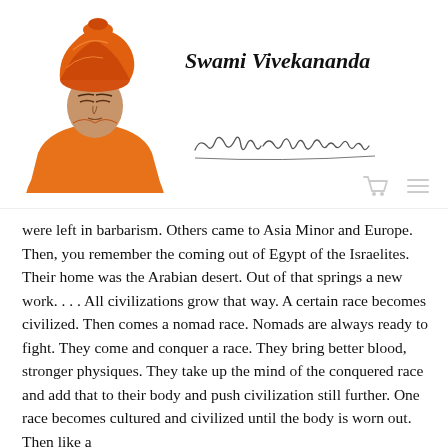[Figure (illustration): Portrait illustration of Swami Vivekananda wearing orange robes and orange turban, eyes closed, against white background]
Swami Vivekananda
[Figure (other): Cursive handwritten signature reading 'Swami Vivekananda']
were left in barbarism. Others came to Asia Minor and Europe. Then, you remember the coming out of Egypt of the Israelites. Their home was the Arabian desert. Out of that springs a new work. . . . All civilizations grow that way. A certain race becomes civilized. Then comes a nomad race. Nomads are always ready to fight. They come and conquer a race. They bring better blood, stronger physiques. They take up the mind of the conquered race and add that to their body and push civilization still further. One race becomes cultured and civilized until the body is worn out. Then like a